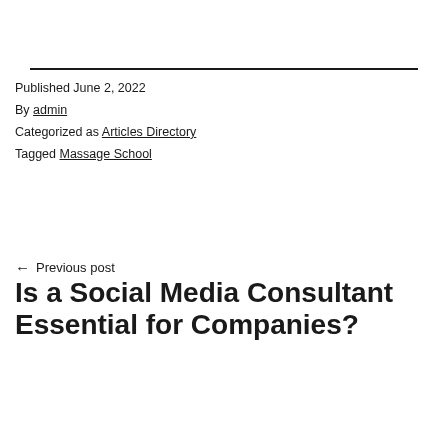Published June 2, 2022
By admin
Categorized as Articles Directory
Tagged Massage School
← Previous post
Is a Social Media Consultant Essential for Companies?